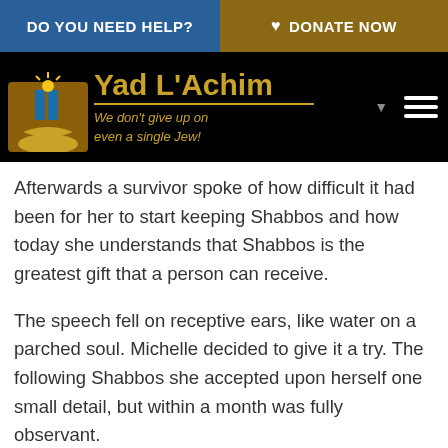DO YOU NEED HELP?  ♥ DONATE NOW
[Figure (logo): Yad L'Achim logo with icon and tagline 'We don't give up on even a single Jew!']
Afterwards a survivor spoke of how difficult it had been for her to start keeping Shabbos and how today she understands that Shabbos is the greatest gift that a person can receive.
The speech fell on receptive ears, like water on a parched soul. Michelle decided to give it a try. The following Shabbos she accepted upon herself one small detail, but within a month was fully observant.
As part of the process, Yad L'Achim arranged for her to